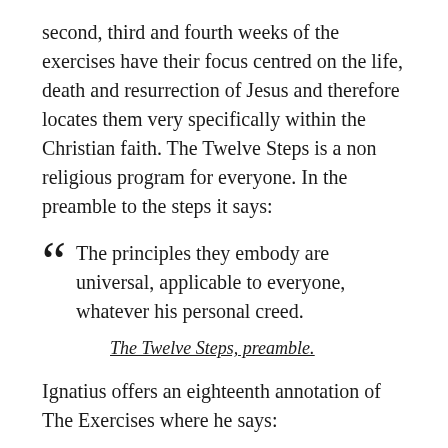second, third and fourth weeks of the exercises have their focus centred on the life, death and resurrection of Jesus and therefore locates them very specifically within the Christian faith. The Twelve Steps is a non religious program for everyone. In the preamble to the steps it says:
The principles they embody are universal, applicable to everyone, whatever his personal creed.
The Twelve Steps, preamble.
Ignatius offers an eighteenth annotation of The Exercises where he says: